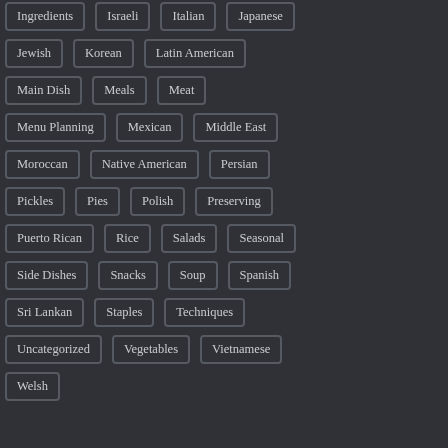Ingredients
Israeli
Italian
Japanese
Jewish
Korean
Latin American
Main Dish
Meals
Meat
Menu Planning
Mexican
Middle East
Moroccan
Native American
Persian
Pickles
Pies
Polish
Preserving
Puerto Rican
Rice
Salads
Seasonal
Side Dishes
Snacks
Soup
Spanish
Sri Lankan
Staples
Techniques
Uncategorized
Vegetables
Vietnamese
Welsh